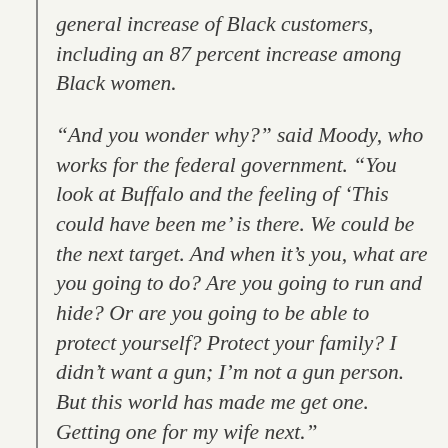general increase of Black customers, including an 87 percent increase among Black women.
“And you wonder why?” said Moody, who works for the federal government. “You look at Buffalo and the feeling of ‘This could have been me’ is there. We could be the next target. And when it’s you, what are you going to do? Are you going to run and hide? Or are you going to be able to protect yourself? Protect your family? I didn’t want a gun; I’m not a gun person. But this world has made me get one. Getting one for my wife next.”